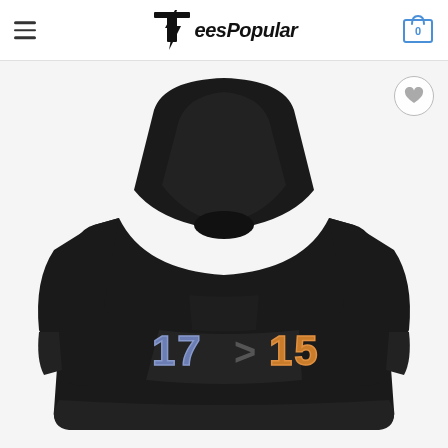TeesPopular
[Figure (photo): Black hoodie product photo with '17 > 15' printed on the front in blue and orange varsity-style letters]